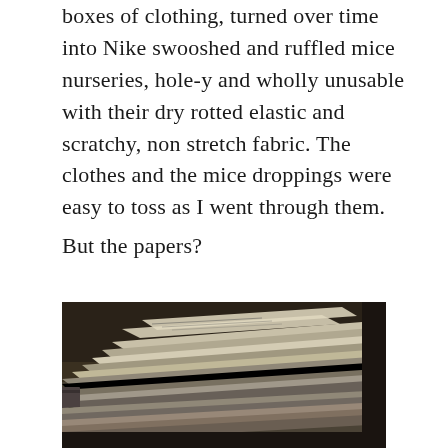boxes of clothing, turned over time into Nike swooshed and ruffled mice nurseries, hole-y and wholly unusable with their dry rotted elastic and scratchy, non stretch fabric. The clothes and the mice droppings were easy to toss as I went through them.
But the papers?
[Figure (photo): A dark photograph showing a large messy pile of papers, folders, and documents stacked haphazardly on top of each other, with a binder visible and various loose sheets.]